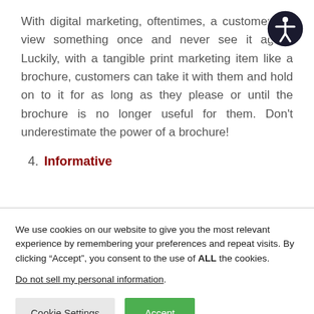With digital marketing, oftentimes, a customer will view something once and never see it again. Luckily, with a tangible print marketing item like a brochure, customers can take it with them and hold on to it for as long as they please or until the brochure is no longer useful for them. Don't underestimate the power of a brochure!
4. Informative
We use cookies on our website to give you the most relevant experience by remembering your preferences and repeat visits. By clicking “Accept”, you consent to the use of ALL the cookies.
Do not sell my personal information.